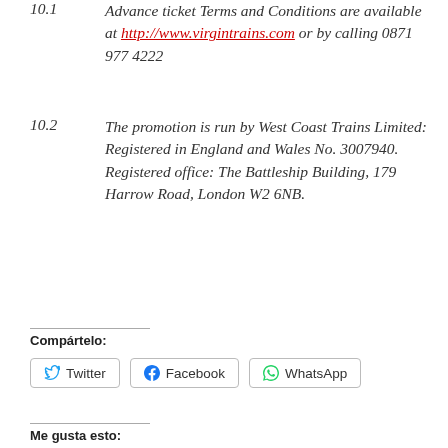10.1 Advance ticket Terms and Conditions are available at http://www.virgintrains.com or by calling 0871 977 4222
10.2 The promotion is run by West Coast Trains Limited: Registered in England and Wales No. 3007940. Registered office: The Battleship Building, 179 Harrow Road, London W2 6NB.
Compártelo:
Twitter | Facebook | WhatsApp
Me gusta esto: